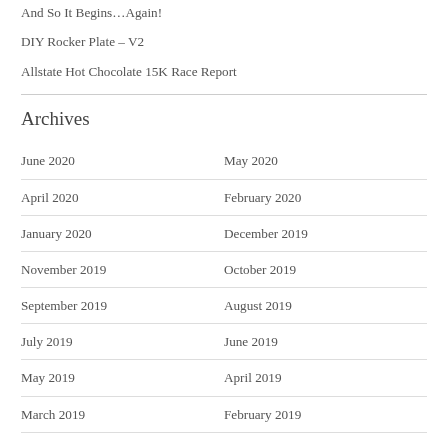And So It Begins…Again!
DIY Rocker Plate – V2
Allstate Hot Chocolate 15K Race Report
Archives
June 2020
May 2020
April 2020
February 2020
January 2020
December 2019
November 2019
October 2019
September 2019
August 2019
July 2019
June 2019
May 2019
April 2019
March 2019
February 2019